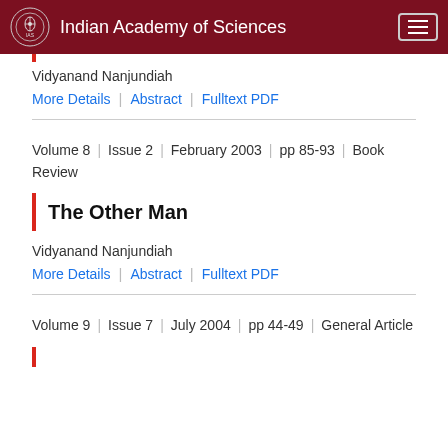Indian Academy of Sciences
Vidyanand Nanjundiah
More Details | Abstract | Fulltext PDF
Volume 8 | Issue 2 | February 2003 | pp 85-93 | Book Review
The Other Man
Vidyanand Nanjundiah
More Details | Abstract | Fulltext PDF
Volume 9 | Issue 7 | July 2004 | pp 44-49 | General Article